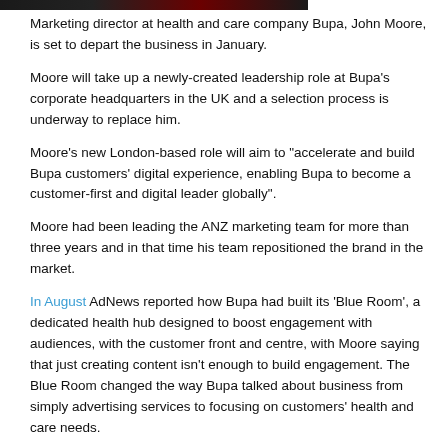[Figure (photo): Partial view of a photo at the top of the page, showing a dark background with red tones, likely a portrait photo of John Moore]
Marketing director at health and care company Bupa, John Moore, is set to depart the business in January.
Moore will take up a newly-created leadership role at Bupa's corporate headquarters in the UK and a selection process is underway to replace him.
Moore's new London-based role will aim to “accalerate and build Bupa customers’ digital experience, enabling Bupa to become a customer-first and digital leader globally”.
Moore had been leading the ANZ marketing team for more than three years and in that time his team repositioned the brand in the market.
In August AdNews reported how Bupa had built its 'Blue Room', a dedicated health hub designed to boost engagement with audiences, with the customer front and centre, with Moore saying that just creating content isn't enough to build engagement. The Blue Room changed the way Bupa talked about business from simply advertising services to focusing on customers' health and care needs.
At the time he said the challenge is that “no one frankly cares”